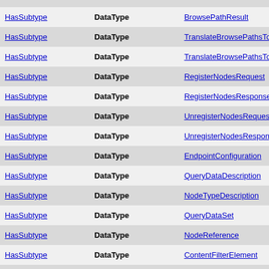|  |  |  |
| --- | --- | --- |
| HasSubtype | DataType | BrowsePathResult |
| HasSubtype | DataType | TranslateBrowsePathsToNodeIdsRequest |
| HasSubtype | DataType | TranslateBrowsePathsToNodeIdsResponse |
| HasSubtype | DataType | RegisterNodesRequest |
| HasSubtype | DataType | RegisterNodesResponse |
| HasSubtype | DataType | UnregisterNodesRequest |
| HasSubtype | DataType | UnregisterNodesResponse |
| HasSubtype | DataType | EndpointConfiguration |
| HasSubtype | DataType | QueryDataDescription |
| HasSubtype | DataType | NodeTypeDescription |
| HasSubtype | DataType | QueryDataSet |
| HasSubtype | DataType | NodeReference |
| HasSubtype | DataType | ContentFilterElement |